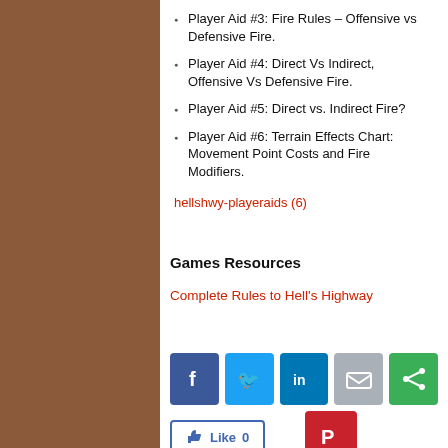Player Aid #3: Fire Rules – Offensive vs Defensive Fire.
Player Aid #4: Direct Vs Indirect, Offensive Vs Defensive Fire.
Player Aid #5: Direct vs. Indirect Fire?
Player Aid #6: Terrain Effects Chart: Movement Point Costs and Fire Modifiers.
hellshwy-playeraids (6)
Games Resources
Complete Rules to Hell's Highway
[Figure (infographic): Social sharing buttons row: Facebook, Twitter, LinkedIn, Email, Share (green). Below: Facebook Like button with count 0, and Pinterest button.]